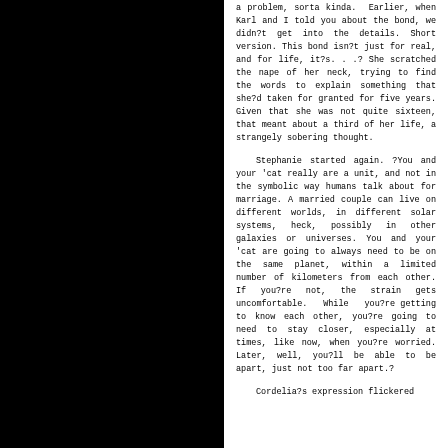a problem, sorta kinda. Earlier, when Karl and I told you about the bond, we didn?t get into the details. Short version. This bond isn?t just for real, and for life, it?s. . .? She scratched the nape of her neck, trying to find the words to explain something that she?d taken for granted for five years. Given that she was not quite sixteen, that meant about a third of her life, a strangely sobering thought.
Stephanie started again. ?You and your 'cat really are a unit, and not in the symbolic way humans talk about for marriage. A married couple can live on different worlds, in different solar systems, heck, possibly in other galaxies or universes. You and your 'cat are going to always need to be on the same planet, within a limited number of kilometers from each other. If you?re not, the strain gets uncomfortable. While you?re getting to know each other, you?re going to need to stay closer, especially at times, like now, when you?re worried. Later, well, you?ll be able to be apart, just not too far apart.?
Cordelia?s expression flickered